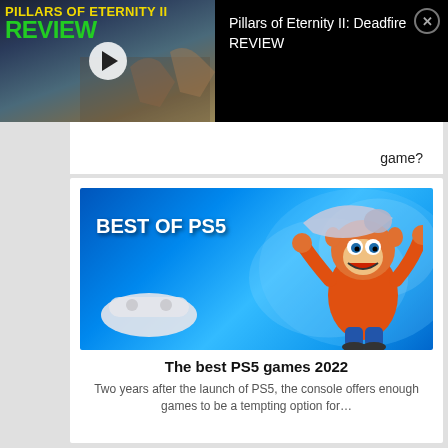[Figure (screenshot): Video overlay showing Pillars of Eternity II Deadfire REVIEW thumbnail with play button on black background, with close button and title text]
game?
[Figure (screenshot): Best of PS5 promotional image showing PS5 DualSense controller and Crash Bandicoot character on blue background]
The best PS5 games 2022
Two years after the launch of PS5, the console offers enough games to be a tempting option for…